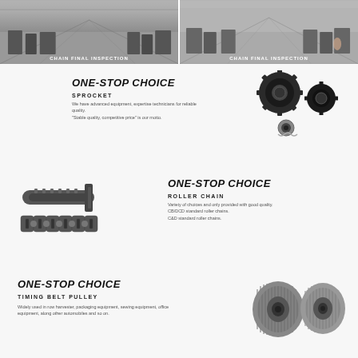[Figure (photo): Factory interior showing chain final inspection area - left photo]
CHAIN FINAL INSPECTION
[Figure (photo): Factory interior showing chain final inspection area - right photo]
CHAIN FINAL INSPECTION
ONE-STOP CHOICE
SPROCKET
We have advanced equipment, expertise technicians for reliable quality. "Stable quality, competitive price" is our motto.
[Figure (photo): Sprocket gears and bearings product photo]
[Figure (photo): Roller chain links and drive chain product photo]
ONE-STOP CHOICE
ROLLER CHAIN
Variety of choices and only provided with good quality. CB/DCD standard roller chains. C&D standard roller chains.
ONE-STOP CHOICE
TIMING BELT PULLEY
Widely used in row harvester, packaging equipment, sewing equipment, office equipment, along other automobiles and so on.
[Figure (photo): Timing belt pulley product photo]
[Figure (photo): Gear and rack product photo]
ONE-STOP CHOICE
GEAR
Our well-equipped facilities, strict quality control throughout all